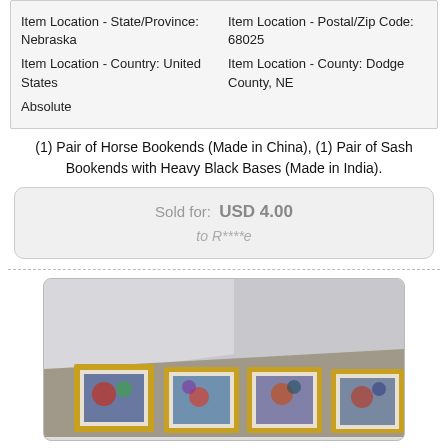| Item Location - State/Province: Nebraska | Item Location - Postal/Zip Code: 68025 |
| Item Location - Country: United States | Item Location - County: Dodge County, NE |
| Absolute |  |
(1) Pair of Horse Bookends (Made in China), (1) Pair of Sash Bookends with Heavy Black Bases (Made in India).
Sold for: USD 4.00
to R****e
[Figure (photo): Photo showing three framed pictures/prints with gold frames leaning against a white wall, displayed side by side.]